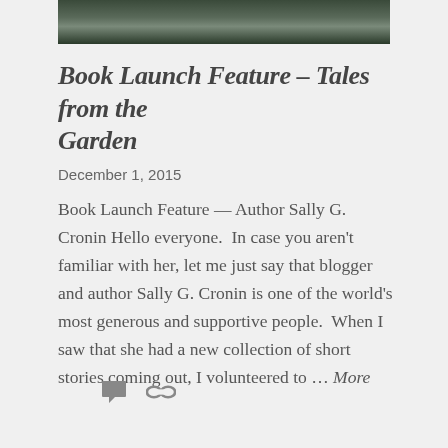[Figure (photo): A dark nature/garden photograph strip at the top of the page]
Book Launch Feature – Tales from the Garden
December 1, 2015
Book Launch Feature — Author Sally G. Cronin Hello everyone.  In case you aren't familiar with her, let me just say that blogger and author Sally G. Cronin is one of the world's most generous and supportive people.  When I saw that she had a new collection of short stories coming out, I volunteered to … More